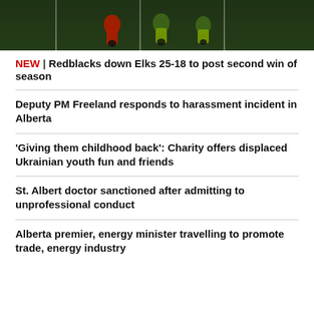[Figure (photo): Football players on a field, players in red and green/yellow uniforms running on a grass field with yard lines visible]
NEW | Redblacks down Elks 25-18 to post second win of season
Deputy PM Freeland responds to harassment incident in Alberta
'Giving them childhood back': Charity offers displaced Ukrainian youth fun and friends
St. Albert doctor sanctioned after admitting to unprofessional conduct
Alberta premier, energy minister travelling to promote trade, energy industry